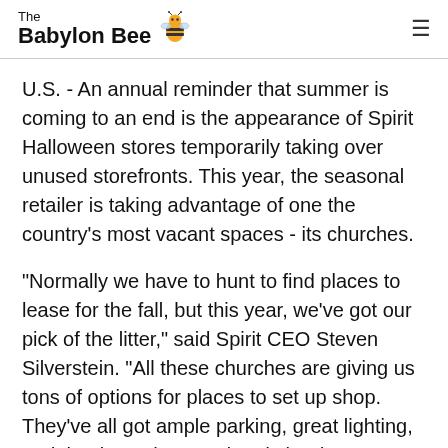The Babylon Bee
U.S. - An annual reminder that summer is coming to an end is the appearance of Spirit Halloween stores temporarily taking over unused storefronts. This year, the seasonal retailer is taking advantage of one the country's most vacant spaces - its churches.
"Normally we have to hunt to find places to lease for the fall, but this year, we've got our pick of the litter," said Spirit CEO Steven Silverstein. "All these churches are giving us tons of options for places to set up shop. They've all got ample parking, great lighting, and thanks to the mandated shutdowns, they're all available."